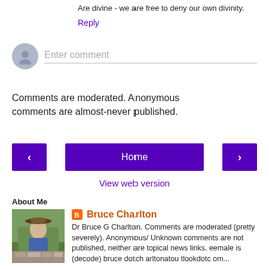Are divine - we are free to deny our own divinity.
Reply
[Figure (other): Comment input area with avatar and placeholder text 'Enter comment']
Comments are moderated. Anonymous comments are almost-never published.
[Figure (other): Navigation buttons: left arrow, Home, right arrow]
View web version
About Me
[Figure (photo): Profile photo of Bruce Charlton sitting outdoors in a hat]
Bruce Charlton
Dr Bruce G Charlton. Comments are moderated (pretty severely). Anonymous/ Unknown comments are not published, neither are topical news links. eemale is (decode) bruce dotch arltonatou tlookdotc om...